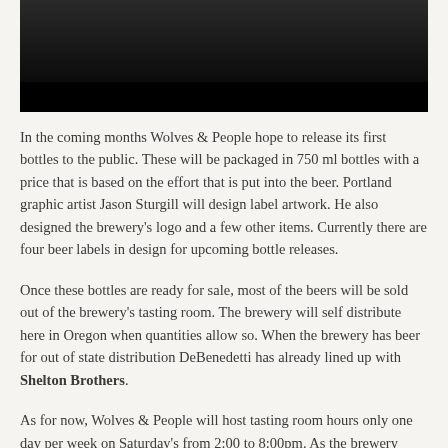[Figure (photo): Dark photograph strip at the top of the page showing partial images of people in a dimly lit setting]
In the coming months Wolves & People hope to release its first bottles to the public. These will be packaged in 750 ml bottles with a price that is based on the effort that is put into the beer. Portland graphic artist Jason Sturgill will design label artwork. He also designed the brewery's logo and a few other items. Currently there are four beer labels in design for upcoming bottle releases.
Once these bottles are ready for sale, most of the beers will be sold out of the brewery's tasting room. The brewery will self distribute here in Oregon when quantities allow so. When the brewery has beer for out of state distribution DeBenedetti has already lined up with Shelton Brothers.
As for now, Wolves & People will host tasting room hours only one day per week on Saturday's from 2:00 to 8:00pm. As the brewery produces additional beer these hours may expand to